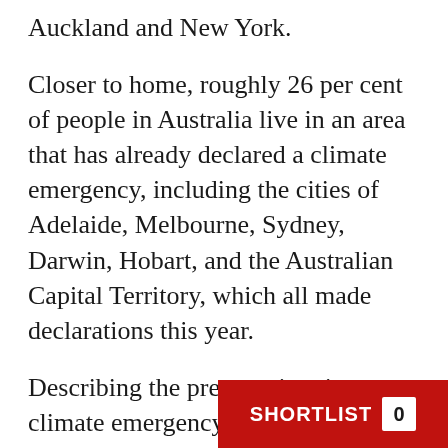Auckland and New York.
Closer to home, roughly 26 per cent of people in Australia live in an area that has already declared a climate emergency, including the cities of Adelaide, Melbourne, Sydney, Darwin, Hobart, and the Australian Capital Territory, which all made declarations this year.
Describing the present situation as a climate emergency is not overstating things. The United Nations Intergovernmental Panel on Climate Change (IPCC) has warned that humanity has until 2030 to ensure action to keep global warming...
[Figure (other): Red SHORTLIST button with count badge showing 0, positioned at bottom right corner of the page]